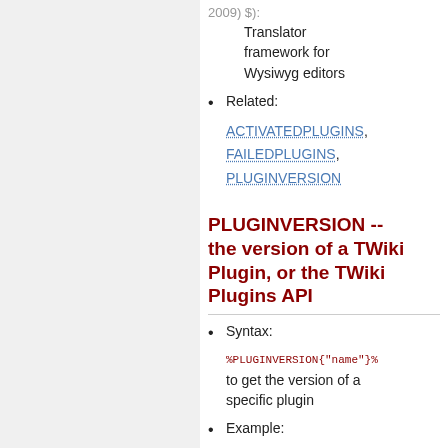2009) $):
Translator framework for Wysiwyg editors
Related:
ACTIVATEDPLUGINS, FAILEDPLUGINS, PLUGINVERSION
PLUGINVERSION -- the version of a TWiki Plugin, or the TWiki Plugins API
Syntax:
%PLUGINVERSION{"name"}%
to get the version of a specific plugin
Example:
%PLUGINVERSION{"InterwikiPlu
expands to $Rev: 14913 (17 Sep 2007) $